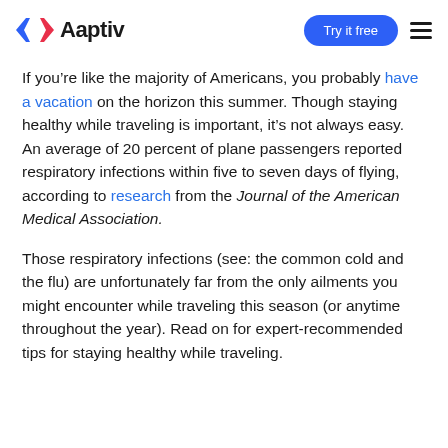Aaptiv | Try it free
If you're like the majority of Americans, you probably have a vacation on the horizon this summer. Though staying healthy while traveling is important, it's not always easy. An average of 20 percent of plane passengers reported respiratory infections within five to seven days of flying, according to research from the Journal of the American Medical Association.
Those respiratory infections (see: the common cold and the flu) are unfortunately far from the only ailments you might encounter while traveling this season (or anytime throughout the year). Read on for expert-recommended tips for staying healthy while traveling.